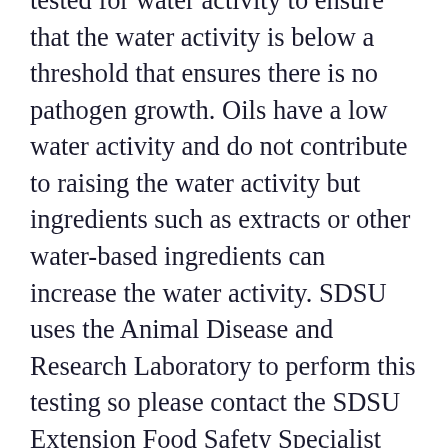tested for water activity to ensure that the water activity is below a threshold that ensures there is no pathogen growth. Oils have a low water activity and do not contribute to raising the water activity but ingredients such as extracts or other water-based ingredients can increase the water activity. SDSU uses the Animal Disease and Research Laboratory to perform this testing so please contact the SDSU Extension Food Safety Specialist for more details if you'd like to know the water activity. Any of these ingredients that are used may also have allergens so if you're selling the nut butter, it is important to call out the allergen on the finished product label.